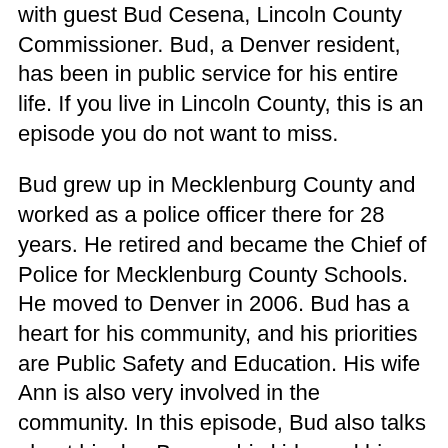with guest Bud Cesena, Lincoln County Commissioner. Bud, a Denver resident, has been in public service for his entire life. If you live in Lincoln County, this is an episode you do not want to miss.
Bud grew up in Mecklenburg County and worked as a police officer there for 28 years. He retired and became the Chief of Police for Mecklenburg County Schools. He moved to Denver in 2006. Bud has a heart for his community, and his priorities are Public Safety and Education. His wife Ann is also very involved in the community. In this episode, Bud also talks about his dog Barney, his kids, and his grandkids. He has a heart for his family and for his community.